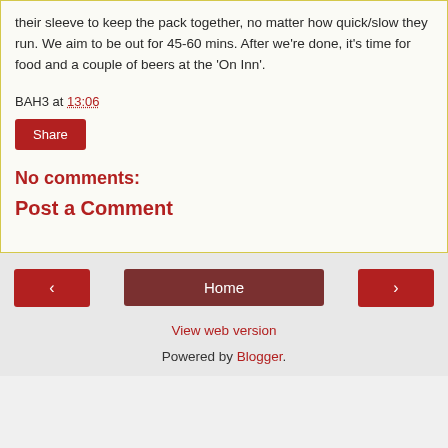their sleeve to keep the pack together, no matter how quick/slow they run. We aim to be out for 45-60 mins. After we're done, it's time for food and a couple of beers at the 'On Inn'.
BAH3 at 13:06
Share
No comments:
Post a Comment
◂  Home  ▸  View web version  Powered by Blogger.